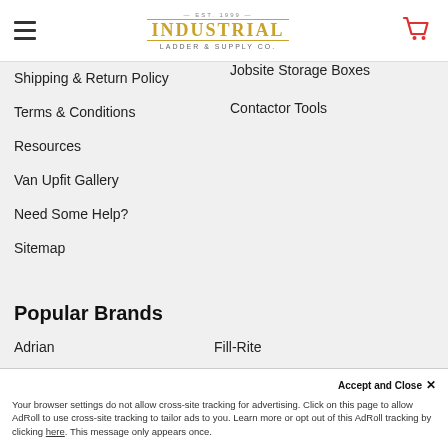Industrial Ladder & Supply Co.
Shipping & Return Policy
Terms & Conditions
Resources
Van Upfit Gallery
Need Some Help?
Sitemap
Jobsite Storage Boxes
Contactor Tools
Popular Brands
Adrian
Fill-Rite
MetalTech
Cotterman
Accept and Close ×
Your browser settings do not allow cross-site tracking for advertising. Click on this page to allow AdRoll to use cross-site tracking to tailor ads to you. Learn more or opt out of this AdRoll tracking by clicking here. This message only appears once.